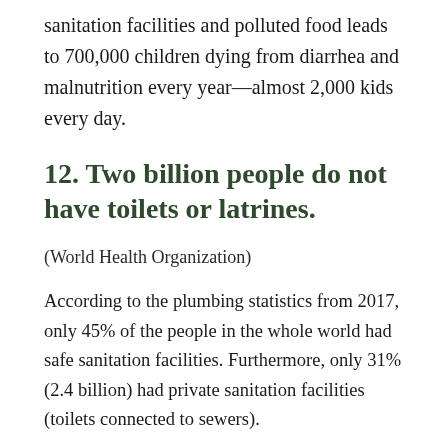sanitation facilities and polluted food leads to 700,000 children dying from diarrhea and malnutrition every year—almost 2,000 kids every day.
12. Two billion people do not have toilets or latrines.
(World Health Organization)
According to the plumbing statistics from 2017, only 45% of the people in the whole world had safe sanitation facilities. Furthermore, only 31% (2.4 billion) had private sanitation facilities (toilets connected to sewers).
Most of those who don't have toilets or latrines live